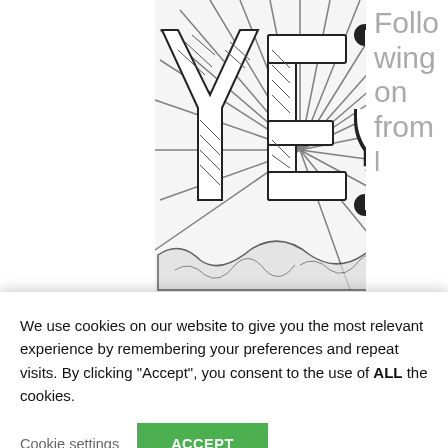[Figure (illustration): Sketch-style illustration of the word YES in large bold block letters with crosshatch shading and radial lines emanating outward, drawn in black ink on white background]
Following on from
We use cookies on our website to give you the most relevant experience by remembering your preferences and repeat visits. By clicking “Accept”, you consent to the use of ALL the cookies.
Cookie settings  ACCEPT
medium-sized (SME) business owners can appeal HMRC’s tax decisions against them, this blog aims to outline how to appeal to the tax tribunal if you disagree with HMRC’s response to